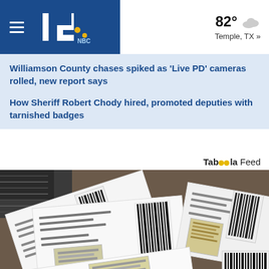KCEN 16 NBC — 82° Temple, TX »
Williamson County chases spiked as 'Live PD' cameras rolled, new report says
How Sheriff Robert Chody hired, promoted deputies with tarnished badges
Taboola Feed
[Figure (photo): Hands holding several paper documents with redacted text and attached photos/cards, photographed on a table surface.]